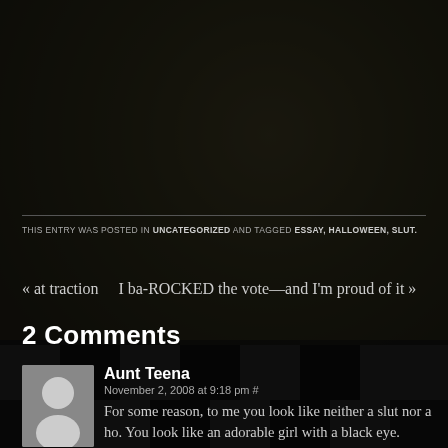[Figure (photo): Dark moody background photo of a woman with long hair sitting against a wall, with a black and white checkered floor visible. The image has a dark, atmospheric quality.]
THIS ENTRY WAS POSTED IN UNCATEGORIZED AND TAGGED ESSAY, HALLOWEEN, SLUT.
« at traction    I ba-ROCKED the vote—and I'm proud of it »
2 Comments
Aunt Teena
November 2, 2008 at 9:18 pm #
For some reason, to me you look like neither a slut nor a ho. You look like an adorable girl with a black eye. Nothing wrong with that.